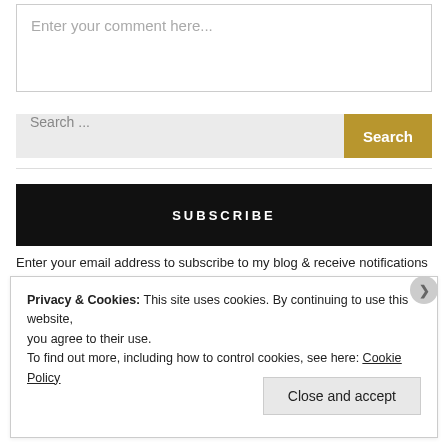Enter your comment here...
Search ...
SUBSCRIBE
Enter your email address to subscribe to my blog & receive notifications
Privacy & Cookies: This site uses cookies. By continuing to use this website, you agree to their use.
To find out more, including how to control cookies, see here: Cookie Policy
Close and accept